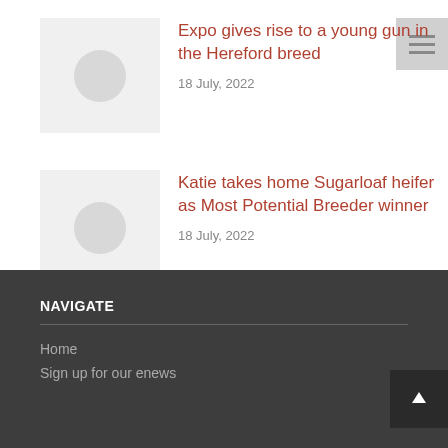Expo gives rise to a young gun in the Hereford breed
18 July, 2022
Katie takes home Sugarloaf heifer as Most Potential Breeder winner
18 July, 2022
NAVIGATE
Home
Sign up for our enews